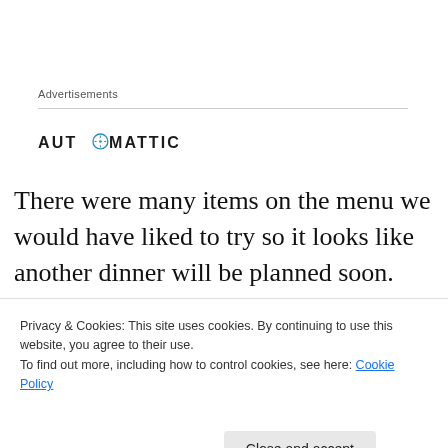Advertisements
[Figure (logo): Automattic logo with compass icon]
There were many items on the menu we would have liked to try so it looks like another dinner will be planned soon.  Then again the “Duck Egg Brunch” menu looks pretty enticing, too.  I’m looking eagerly anticipating my
Privacy & Cookies: This site uses cookies. By continuing to use this website, you agree to their use.
To find out more, including how to control cookies, see here: Cookie Policy
Close and accept